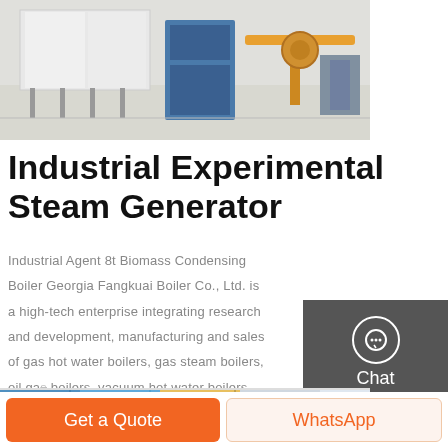[Figure (photo): Industrial boiler/steam generator equipment in a factory setting with metal machinery, blue industrial unit, and overhead crane arm in yellow/orange]
Industrial Experimental Steam Generator
Industrial Agent 8t Biomass Condensing Boiler Georgia Fangkuai Boiler Co., Ltd. is a high-tech enterprise integrating research and development, manufacturing and sales of gas hot water boilers, gas steam boilers, oil gas boilers, vacuum hot water boilers and clean
[Figure (infographic): Sidebar widget panel with dark grey background containing Chat, Email, and Contact icons with labels]
[Figure (photo): Industrial product image strip at bottom showing colorful equipment]
Get A Quote
Get a Quote
WhatsApp